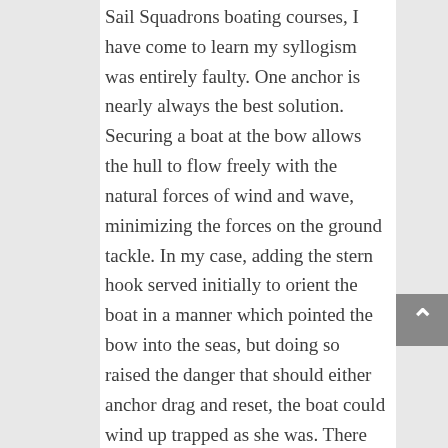Sail Squadrons boating courses, I have come to learn my syllogism was entirely faulty. One anchor is nearly always the best solution. Securing a boat at the bow allows the hull to flow freely with the natural forces of wind and wave, minimizing the forces on the ground tackle. In my case, adding the stern hook served initially to orient the boat in a manner which pointed the bow into the seas, but doing so raised the danger that should either anchor drag and reset, the boat could wind up trapped as she was. There are limited cases when anchoring with a bow and stern hook makes sense, but it's not accurate to surmise that two is always better than one, not even if both are set off the bow. In fact, I might never have reason to deploy more than one anchor for the rest of my sailing career.

Do I regret my own ignorance which led to this near-